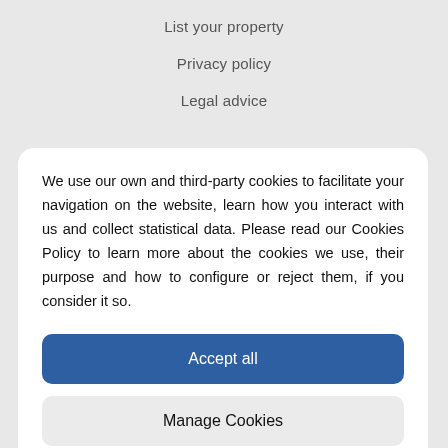List your property
Privacy policy
Legal advice
We use our own and third-party cookies to facilitate your navigation on the website, learn how you interact with us and collect statistical data. Please read our Cookies Policy to learn more about the cookies we use, their purpose and how to configure or reject them, if you consider it so.
Accept all
Manage Cookies
Reject